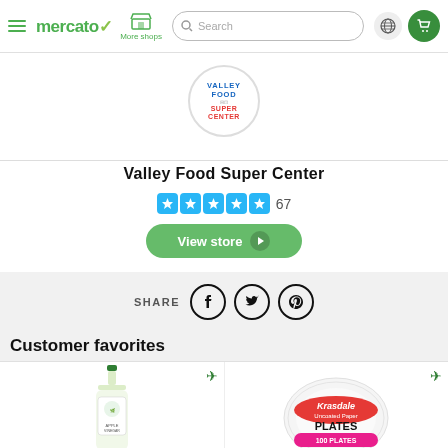mercato | More shops | Search | globe | cart
[Figure (logo): Valley Food Super Center store logo in a circle]
Valley Food Super Center
[Figure (infographic): 5 blue star rating boxes with number 67]
View store →
SHARE
[Figure (infographic): Social share icons: Facebook, Twitter, Pinterest]
Customer favorites
[Figure (photo): Olive oil bottle product image]
[Figure (photo): Krasdale Uncoated Paper Plates 100 plates product image]